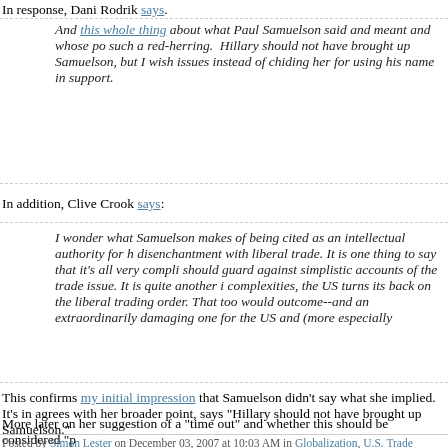In response, Dani Rodrik says.
And this whole thing about what Paul Samuelson said and meant and whose po such a red-herring. Hillary should not have brought up Samuelson, but I wish issues instead of chiding her for using his name in support.
In addition, Clive Crook says:
I wonder what Samuelson makes of being cited as an intellectual authority for disenchantment with liberal trade. It is one thing to say that it's all very compli should guard against simplistic accounts of the trade issue. It is quite another i complexities, the US turns its back on the liberal trading order. That too would outcome--and an extraordinarily damaging one for the US and (more especially
This confirms my initial impression that Samuelson didn't say what she implied. It's in agrees with her broader point, says "Hillary should not have brought up Samuelson."
More later on her suggestion of a "time out" and whether this should be considered "p
Posted by Simon Lester on December 03, 2007 at 10:03 AM in Globalization, U.S. Trade Politics | Permalink